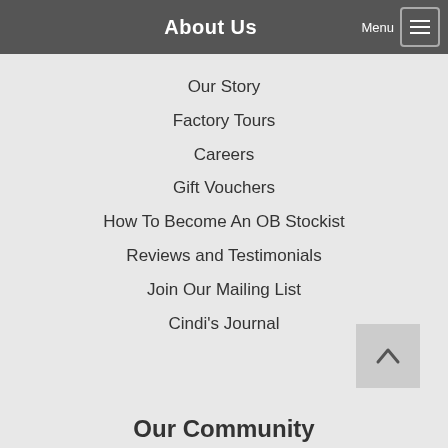About Us
Our Story
Factory Tours
Careers
Gift Vouchers
How To Become An OB Stockist
Reviews and Testimonials
Join Our Mailing List
Cindi's Journal
[Figure (other): Back to top button with upward chevron arrow]
Our Community